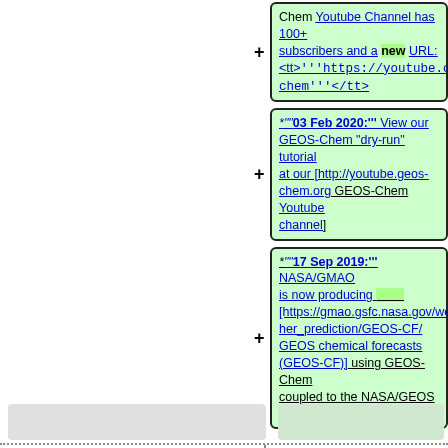Chem Youtube Channel has 100+ subscribers and a new URL: <tt>'''https://youtube.com/c/geoschem'''</tt>
*'''03 Feb 2020:''' View our GEOS-Chem "dry-run" tutorial at our [http://youtube.geos-chem.org GEOS-Chem Youtube channel]
*'''17 Sep 2019:''' NASA/GMAO is now producing [https://gmao.gsfc.nasa.gov/weather_prediction/GEOS-CF/ GEOS chemical forecasts (GEOS-CF)] using GEOS-Chem coupled to the NASA/GEOS ESM